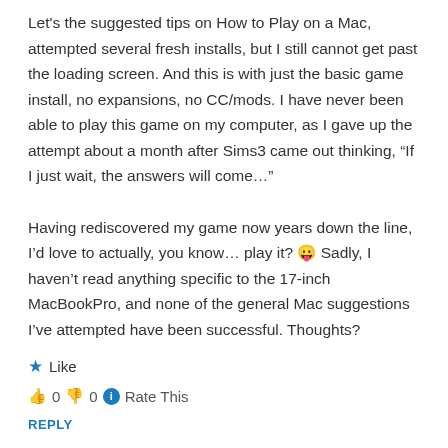Let's the suggested tips on How to Play on a Mac, attempted several fresh installs, but I still cannot get past the loading screen. And this is with just the basic game install, no expansions, no CC/mods. I have never been able to play this game on my computer, as I gave up the attempt about a month after Sims3 came out thinking, “If I just wait, the answers will come…”

Having rediscovered my game now years down the line, I’d love to actually, you know… play it? 😛 Sadly, I haven’t read anything specific to the 17-inch MacBookPro, and none of the general Mac suggestions I’ve attempted have been successful. Thoughts?
★ Like
👍 0 👎 0 ⓘ Rate This
REPLY
BluebellFlora says:
May 4, 2017 at 10:07 am